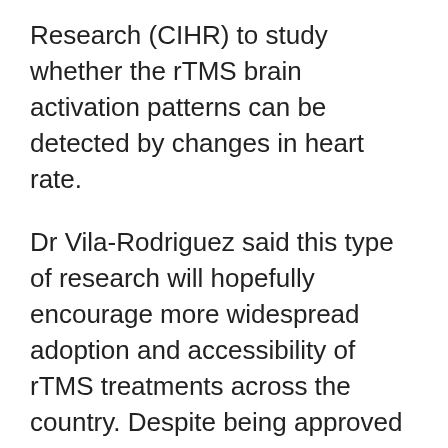Research (CIHR) to study whether the rTMS brain activation patterns can be detected by changes in heart rate.
Dr Vila-Rodriguez said this type of research will hopefully encourage more widespread adoption and accessibility of rTMS treatments across the country. Despite being approved by Health Canada 20 years ago, rTMS is still not widely available. In British Columbia, there are some private clinics that offer rTMS, but it is not covered by the provincial health plan. (ANI)